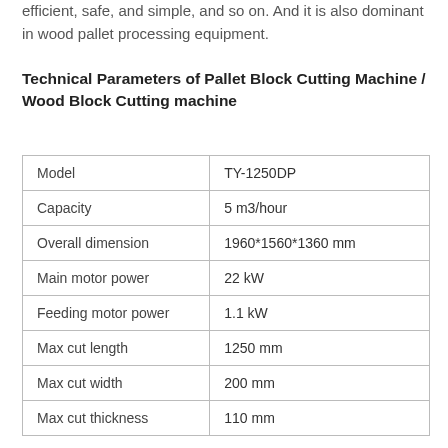efficient, safe, and simple, and so on. And it is also dominant in wood pallet processing equipment.
Technical Parameters of Pallet Block Cutting Machine / Wood Block Cutting machine
|  |  |
| --- | --- |
| Model | TY-1250DP |
| Capacity | 5 m3/hour |
| Overall dimension | 1960*1560*1360 mm |
| Main motor power | 22 kW |
| Feeding motor power | 1.1 kW |
| Max cut length | 1250 mm |
| Max cut width | 200 mm |
| Max cut thickness | 110 mm |